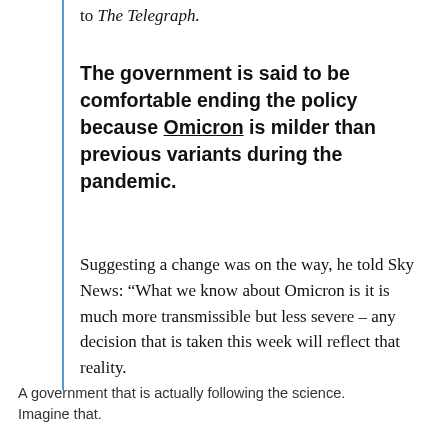to The Telegraph.
The government is said to be comfortable ending the policy because Omicron is milder than previous variants during the pandemic.
Suggesting a change was on the way, he told Sky News: “What we know about Omicron is it is much more transmissible but less severe – any decision that is taken this week will reflect that reality.
A government that is actually following the science. Imagine that.